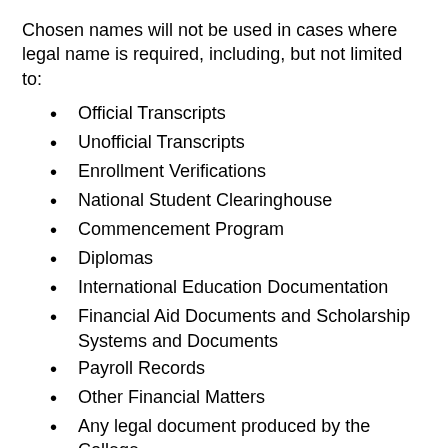Chosen names will not be used in cases where legal name is required, including, but not limited to:
Official Transcripts
Unofficial Transcripts
Enrollment Verifications
National Student Clearinghouse
Commencement Program
Diplomas
International Education Documentation
Financial Aid Documents and Scholarship Systems and Documents
Payroll Records
Other Financial Matters
Any legal document produced by the College
Federal and State Reporting
Federal Immigration Documents/SEVIS Documents
Licensing certification agencies